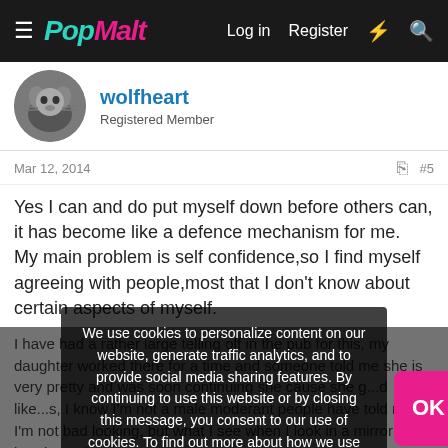PopMalt — Log in  Register
wolfheart
Registered Member
Mar 12, 2014  #5
Yes I can and do put myself down before others can, it has become like a defence mechanism for me.
My main problem is self confidence,so I find myself agreeing with people,most that I don't know about certain aspects of myself.
I have had a rather large telling off in the pub for this, my daughter worked there for a time and someone told me she is very pretty and was soon continuing she cause she g...d like...s, I know I'm not a male moderant people have told me I'm not bad looking, but what I see when I look in a mirror is the breaks and...and I think b...a...what I...
We use cookies to personalize content on our website, generate traffic analytics, and to provide social media sharing features. By continuing to use this website or by closing this message, you consent to our use of cookies. To find out more about how we use cookies, including how to change your cookie settings, read our privacy policy.